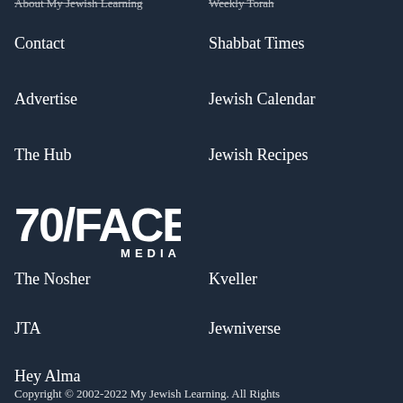About My Jewish Learning
Weekly Torah
Contact
Shabbat Times
Advertise
Jewish Calendar
The Hub
Jewish Recipes
[Figure (logo): 70/FACES MEDIA logo in white text on dark navy background]
The Nosher
Kveller
JTA
Jewniverse
Hey Alma
Copyright © 2002-2022 My Jewish Learning. All Rights